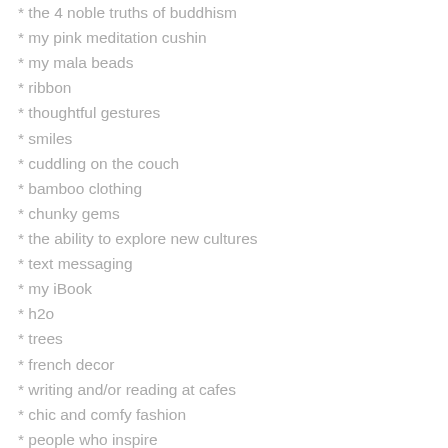* the 4 noble truths of buddhism
* my pink meditation cushin
* my mala beads
* ribbon
* thoughtful gestures
* smiles
* cuddling on the couch
* bamboo clothing
* chunky gems
* the ability to explore new cultures
* text messaging
* my iBook
* h2o
* trees
* french decor
* writing and/or reading at cafes
* chic and comfy fashion
* people who inspire
* tissue paper and gift bags
* bamboo stalks
* positive feedback
* constructive feedback